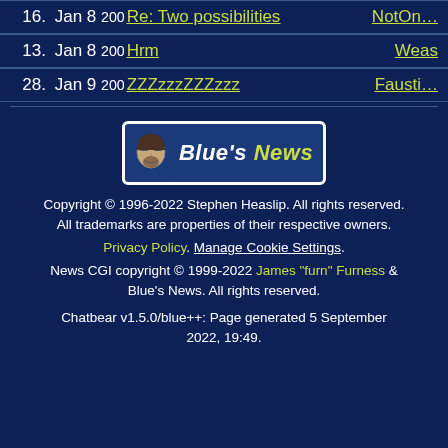16.  Jan 8 200  Re: Two possibilities  NotOn…
13.  Jan 8 200  Hrm  Weas
28.  Jan 9 200  ZZZzzzZZZzzz  Fausti…
[Figure (logo): Blue's News logo with face icon]
Copyright © 1996-2022 Stephen Heaslip. All rights reserved.
All trademarks are properties of their respective owners.
Privacy Policy. Manage Cookie Settings.
News CGI copyright © 1999-2022 James "furn" Furness & Blue's News. All rights reserved.
Chatbear v1.5.0/blue++: Page generated 5 September 2022, 19:49.